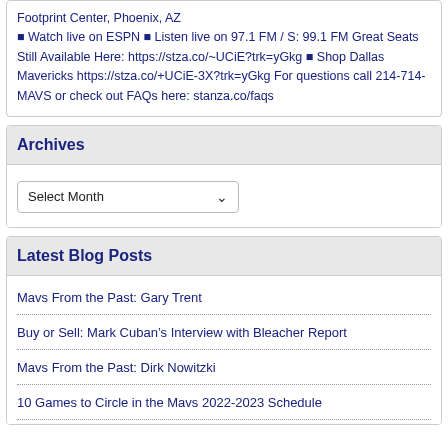Footprint Center, Phoenix, AZ 🏀 Watch live on ESPN 🏀 Listen live on 97.1 FM / S: 99.1 FM Great Seats Still Available Here: https://stza.co/~UCiE?trk=yGkg 🏀 Shop Dallas Mavericks https://stza.co/+UCiE-3X?trk=yGkg For questions call 214-714-MAVS or check out FAQs here: stanza.co/faqs
Archives
Select Month
Latest Blog Posts
Mavs From the Past: Gary Trent
Buy or Sell: Mark Cuban's Interview with Bleacher Report
Mavs From the Past: Dirk Nowitzki
10 Games to Circle in the Mavs 2022-2023 Schedule